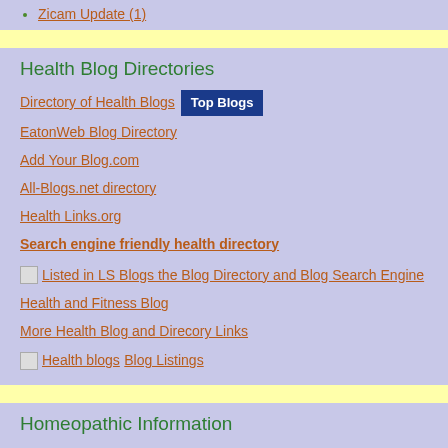Zicam Update (1)
Health Blog Directories
Directory of Health Blogs [Top Blogs]
EatonWeb Blog Directory
Add Your Blog.com
All-Blogs.net directory
Health Links.org
Search engine friendly health directory
[Listed in LS Blogs the Blog Directory and Blog Search Engine]
Health and Fitness Blog
More Health Blog and Direcory Links
[Health blogs] Blog Listings
Homeopathic Information
Directory of Homeopathic Doctors